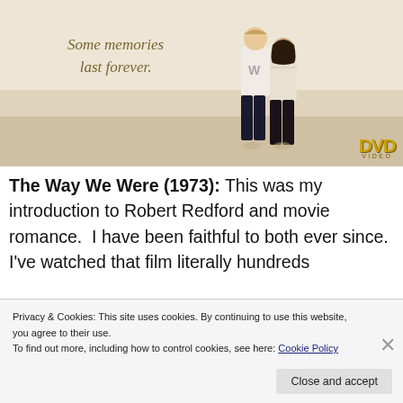[Figure (photo): DVD cover image for 'The Way We Were' (1973) showing two people standing together on a sandy background with the tagline 'Some memories last forever.' and a DVD logo badge in the bottom right corner.]
The Way We Were (1973): This was my introduction to Robert Redford and movie romance.  I have been faithful to both ever since.  I've watched that film literally hundreds
Privacy & Cookies: This site uses cookies. By continuing to use this website, you agree to their use.
To find out more, including how to control cookies, see here: Cookie Policy
Close and accept